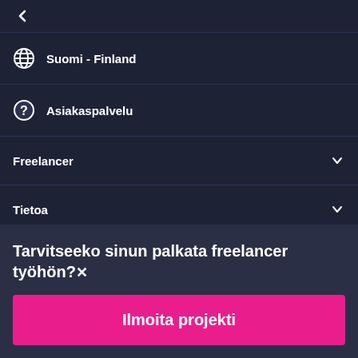[Figure (other): Arrow/back icon pointing up-left, white on dark navy background]
Suomi - Finland
Asiakaspalvelu
Freelancer
Tietoa
Ehdot
Tarvitseeko sinun palkata freelancer työhön?
Ilmoita projekti